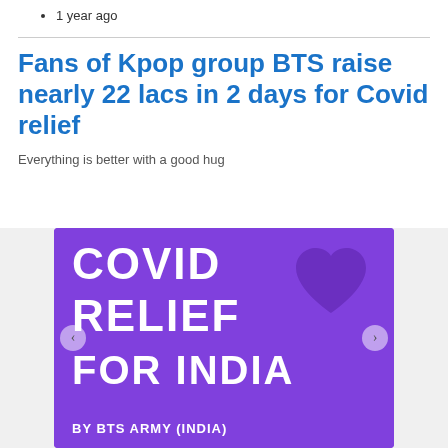1 year ago
Fans of Kpop group BTS raise nearly 22 lacs in 2 days for Covid relief
Everything is better with a good hug
[Figure (illustration): Purple background image with white bold text reading 'COVID RELIEF FOR INDIA' and a dark purple heart shape, with text 'BY BTS ARMY (INDIA)' at the bottom]